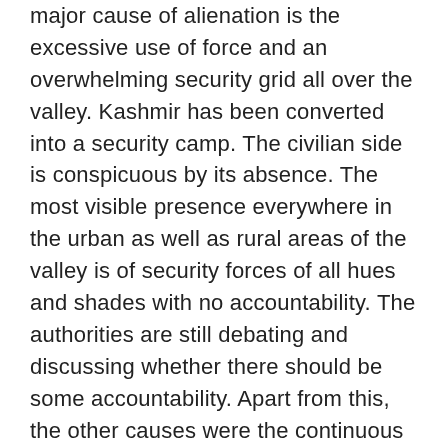major cause of alienation is the excessive use of force and an overwhelming security grid all over the valley. Kashmir has been converted into a security camp. The civilian side is conspicuous by its absence. The most visible presence everywhere in the urban as well as rural areas of the valley is of security forces of all hues and shades with no accountability. The authorities are still debating and discussing whether there should be some accountability. Apart from this, the other causes were the continuous BJP campaign to end the special status of the State. In fact, the betrayal of PDP in regard to keeping BJP out of Kashmir acted like an accelerator to the uprising which was more pronounced in the South, supposed to be the stronghold of PDP.